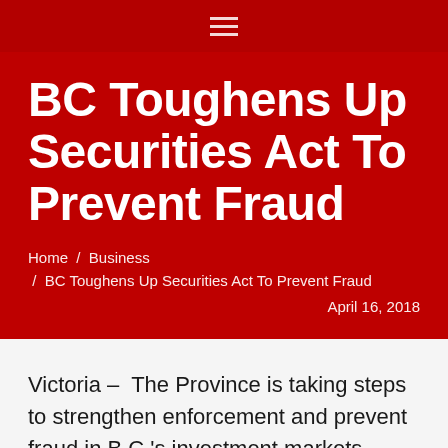≡ (hamburger menu)
BC Toughens Up Securities Act To Prevent Fraud
Home / Business / BC Toughens Up Securities Act To Prevent Fraud
April 16, 2018
Victoria – The Province is taking steps to strengthen enforcement and prevent fraud in B.C.'s investment markets.